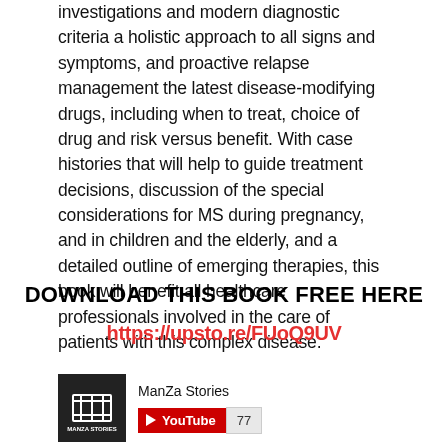investigations and modern diagnostic criteria a holistic approach to all signs and symptoms, and proactive relapse management the latest disease-modifying drugs, including when to treat, choice of drug and risk versus benefit. With case histories that will help to guide treatment decisions, discussion of the special considerations for MS during pregnancy, and in children and the elderly, and a detailed outline of emerging therapies, this book will benefit all healthcare professionals involved in the care of patients with this complex disease.
DOWNLOAD THIS BOOK FREE HERE
https://upsto.re/FUoQ9UV
[Figure (logo): ManZa Stories YouTube channel logo block with dark background and film reel icon, accompanied by channel name 'ManZa Stories' and a YouTube subscribe button showing count 77]